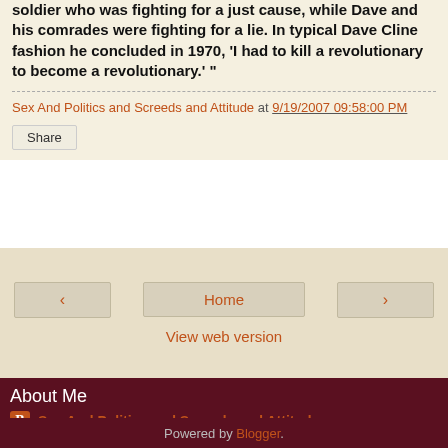soldier who was fighting for a just cause, while Dave and his comrades were fighting for a lie. In typical Dave Cline fashion he concluded in 1970, 'I had to kill a revolutionary to become a revolutionary.' "
Sex And Politics and Screeds and Attitude at 9/19/2007 09:58:00 PM
Share
Home
View web version
About Me
Sex And Politics and Screeds and Attitude
View my complete profile
Powered by Blogger.